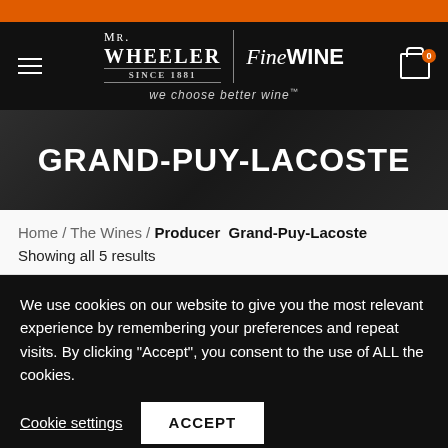MR.WHEELER Since 1881 | FineWINE — we choose better wine
GRAND-PUY-LACOSTE
Home / The Wines / Producer  Grand-Puy-Lacoste
Showing all 5 results
We use cookies on our website to give you the most relevant experience by remembering your preferences and repeat visits. By clicking "Accept", you consent to the use of ALL the cookies.
Cookie settings   ACCEPT